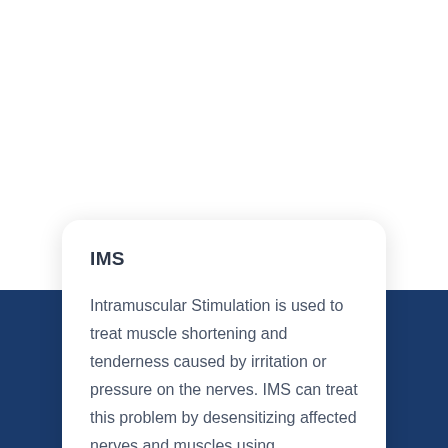IMS
Intramuscular Stimulation is used to treat muscle shortening and tenderness caused by irritation or pressure on the nerves. IMS can treat this problem by desensitizing affected nerves and muscles using acupuncture needles. Manipulation